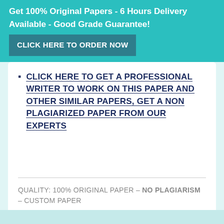Get 100% Original Papers - 6 Hours Delivery Available - Good Grade Guarantee! CLICK HERE TO ORDER NOW
CLICK HERE TO GET A PROFESSIONAL WRITER TO WORK ON THIS PAPER AND OTHER SIMILAR PAPERS, GET A NON PLAGIARIZED PAPER FROM OUR EXPERTS
QUALITY: 100% ORIGINAL PAPER – NO PLAGIARISM – CUSTOM PAPER